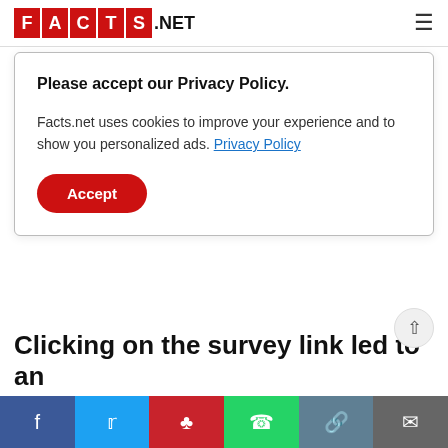FACTS.NET
In December 2019, Walmart survey...
Please accept our Privacy Policy.
Facts.net uses cookies to improve your experience and to show you personalized ads. Privacy Policy
Accept
Clicking on the survey link led to an
[Figure (other): Social sharing bar with Facebook, Twitter, Pinterest, WhatsApp, Link, and Email buttons]